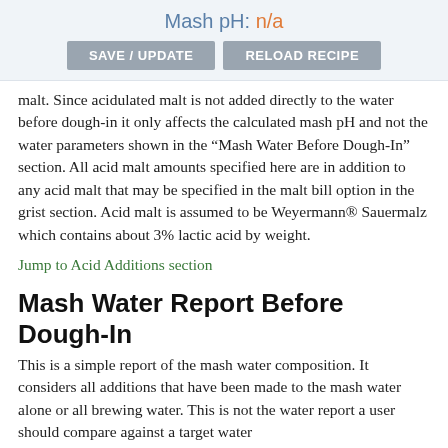Mash pH: n/a
malt. Since acidulated malt is not added directly to the water before dough-in it only affects the calculated mash pH and not the water parameters shown in the “Mash Water Before Dough-In” section. All acid malt amounts specified here are in addition to any acid malt that may be specified in the malt bill option in the grist section. Acid malt is assumed to be Weyermann® Sauermalz which contains about 3% lactic acid by weight.
Jump to Acid Additions section
Mash Water Report Before Dough-In
This is a simple report of the mash water composition. It considers all additions that have been made to the mash water alone or all brewing water. This is not the water report a user should compare against a target water